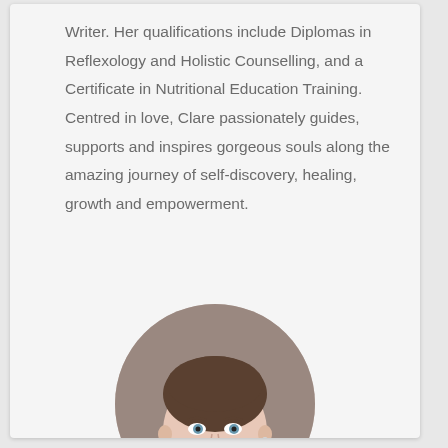Writer. Her qualifications include Diplomas in Reflexology and Holistic Counselling, and a Certificate in Nutritional Education Training. Centred in love, Clare passionately guides, supports and inspires gorgeous souls along the amazing journey of self-discovery, healing, growth and empowerment.
[Figure (photo): Circular portrait photo of a smiling woman with short brown hair wearing a magenta/purple top, photographed against a gray background.]